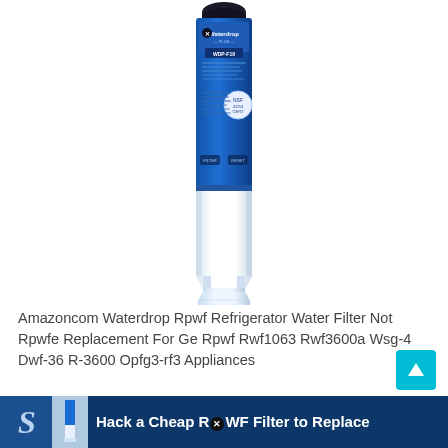[Figure (photo): Waterdrop Plus WDP-F19 refrigerator water filter product photo. A tall, narrow cylindrical filter with blue label at top showing brand name and model, white body, and white twist-lock base connector at bottom.]
Amazoncom Waterdrop Rpwf Refrigerator Water Filter Not Rpwfe Replacement For Ge Rpwf Rwf1063 Rwf3600a Wsg-4 Dwf-36 R-3600 Opfg3-rf3 Appliances
[Figure (screenshot): Partial bottom banner showing a dark blue background with a stylized 'S' logo on the left and text 'Hack a Cheap R(x)WF Filter to Replace' in white, cropped at the bottom of the page.]